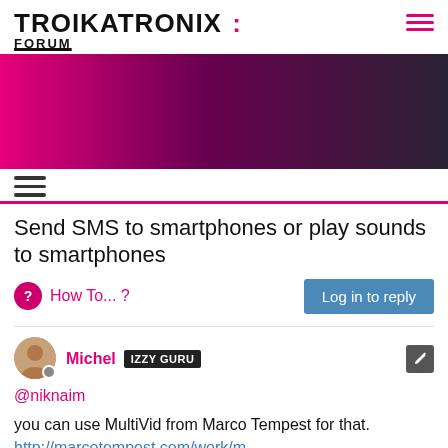TROIKATRONIX : FORUM
[Figure (illustration): Magenta to dark purple gradient banner image]
Send SMS to smartphones or play sounds to smartphones
How To... ?
Log in to reply
Michel IZZY GURU
@niknaim
you can use MultiVid from Marco Tempest for that. http://marcotempest.com/work/m...